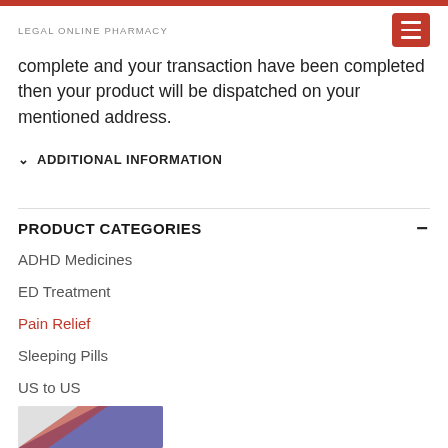LEGAL ONLINE PHARMACY
complete and your transaction have been completed then your product will be dispatched on your mentioned address.
ADDITIONAL INFORMATION
PRODUCT CATEGORIES
ADHD Medicines
ED Treatment
Pain Relief
Sleeping Pills
US to US
Weight Loss Pills
[Figure (photo): Partial bottom image with blue and red diagonal design, likely a pharmacy product banner.]